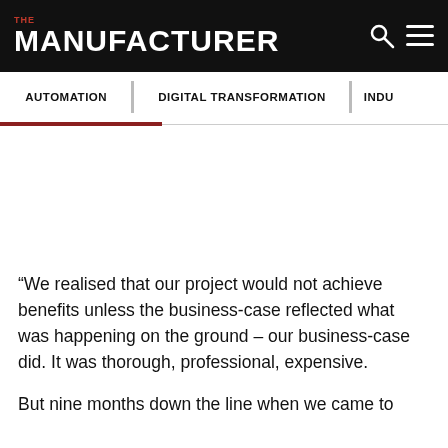THE MANUFACTURER
AUTOMATION | DIGITAL TRANSFORMATION | INDU...
“We realised that our project would not achieve benefits unless the business-case reflected what was happening on the ground – our business-case did. It was thorough, professional, expensive.
But nine months down the line when we came to